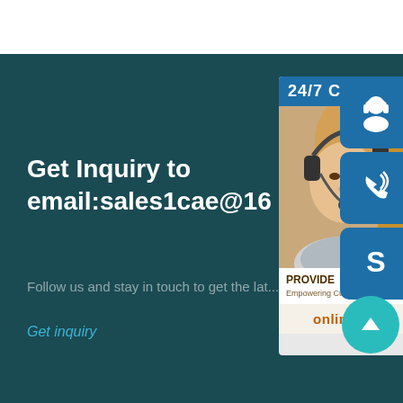Get Inquiry to email:sales1cae@16...
Follow us and stay in touch to get the lat...
Get inquiry
[Figure (photo): Customer service representative with headset, panel showing 24/7 support with PROVIDE Empowering Customers text and online live button]
[Figure (infographic): Three blue icon buttons on right: headset/agent icon, phone with signal icon, Skype S icon]
[Figure (infographic): Teal circular scroll-to-top button with upward arrow]